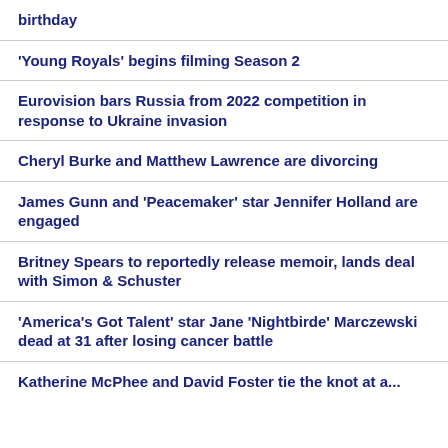birthday
'Young Royals' begins filming Season 2
Eurovision bars Russia from 2022 competition in response to Ukraine invasion
Cheryl Burke and Matthew Lawrence are divorcing
James Gunn and 'Peacemaker' star Jennifer Holland are engaged
Britney Spears to reportedly release memoir, lands deal with Simon & Schuster
'America's Got Talent' star Jane 'Nightbirde' Marczewski dead at 31 after losing cancer battle
Katherine McPhee and David Foster tie the knot at a...